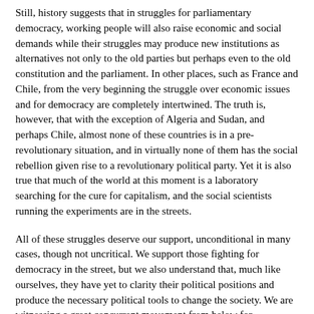Still, history suggests that in struggles for parliamentary democracy, working people will also raise economic and social demands while their struggles may produce new institutions as alternatives not only to the old parties but perhaps even to the old constitution and the parliament. In other places, such as France and Chile, from the very beginning the struggle over economic issues and for democracy are completely intertwined. The truth is, however, that with the exception of Algeria and Sudan, and perhaps Chile, almost none of these countries is in a pre-revolutionary situation, and in virtually none of them has the social rebellion given rise to a revolutionary political party. Yet it is also true that much of the world at this moment is a laboratory searching for the cure for capitalism, and the social scientists running the experiments are in the streets.
All of these struggles deserve our support, unconditional in many cases, though not uncritical. We support those fighting for democracy in the street, but we also understand that, much like ourselves, they have yet to clarity their political positions and produce the necessary political tools to change the society. We are witnessing a great concurrent movement from below for democracy and economic justice across the world and we stand with those movements.